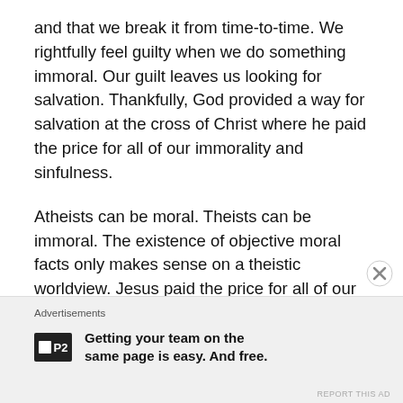and that we break it from time-to-time. We rightfully feel guilty when we do something immoral. Our guilt leaves us looking for salvation. Thankfully, God provided a way for salvation at the cross of Christ where he paid the price for all of our immorality and sinfulness.
Atheists can be moral. Theists can be immoral. The existence of objective moral facts only makes sense on a theistic worldview. Jesus paid the price for all of our immorality.
Advertisements
[Figure (logo): P2 logo — dark square with white box icon and P2 text]
Getting your team on the same page is easy. And free.